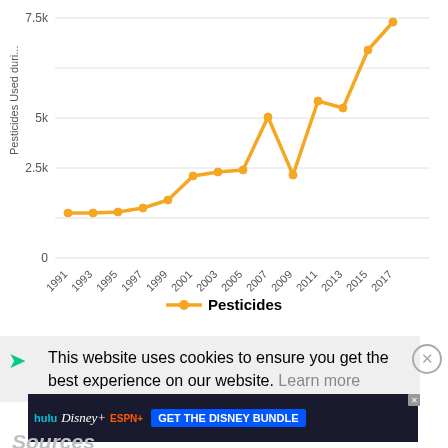[Figure (line-chart): Pesticides Used during crop year]
Pesticides
This website uses cookies to ensure you get the best experience on our website.  Learn more
[Figure (screenshot): Disney Bundle advertisement banner showing hulu, Disney+, ESPN+ logos with text GET THE DISNEY BUNDLE. Incl. Hulu (ad-supported) or Hulu (No Ads). Access content from each service separately. @2021 Disney and its related entities]
Sources